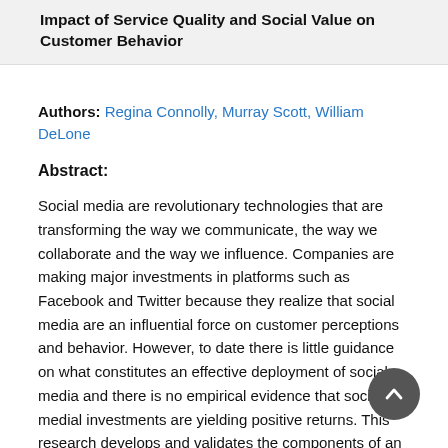Impact of Service Quality and Social Value on Customer Behavior
Authors: Regina Connolly, Murray Scott, William DeLone
Abstract:
Social media are revolutionary technologies that are transforming the way we communicate, the way we collaborate and the way we influence. Companies are making major investments in platforms such as Facebook and Twitter because they realize that social media are an influential force on customer perceptions and behavior. However, to date there is little guidance on what constitutes an effective deployment of social media and there is no empirical evidence that social medial investments are yielding positive returns. This research develops and validates the components of an